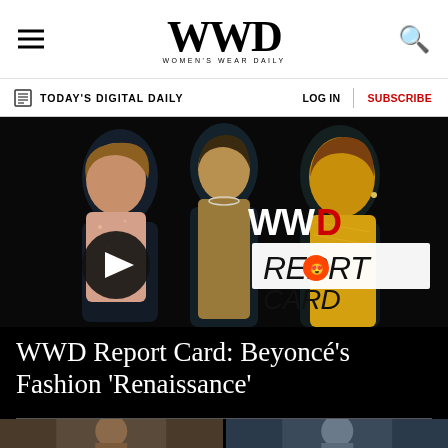WWD WOMEN'S WEAR DAILY
TODAY'S DIGITAL DAILY   LOG IN  |  SUBSCRIBE
[Figure (photo): WWD Report Card video thumbnail: three women in glamorous outfits on black background with WWD Report Card logo overlay and play button]
WWD Report Card: Beyoncé's Fashion 'Renaissance'
[Figure (photo): Two small thumbnail images at bottom of page]